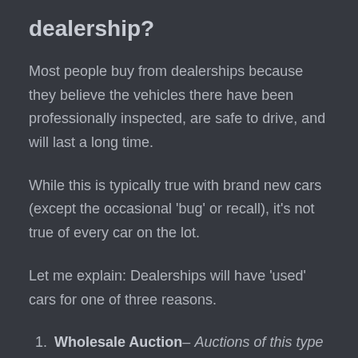dealership?
Most people buy from dealerships because they believe the vehicles there have been professionally inspected, are safe to drive, and will last a long time.
While this is typically true with brand new cars (except the occasional 'bug' or recall), it's not true of every car on the lot.
Let me explain: Dealerships will have 'used' cars for one of three reasons.
Wholesale Auction– Auctions of this type include vehicles that were repossessed, impounded/confiscated (police auctions), low